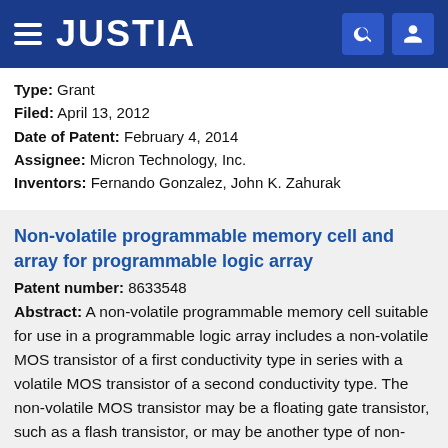JUSTIA
Type: Grant
Filed: April 13, 2012
Date of Patent: February 4, 2014
Assignee: Micron Technology, Inc.
Inventors: Fernando Gonzalez, John K. Zahurak
Non-volatile programmable memory cell and array for programmable logic array
Patent number: 8633548
Abstract: A non-volatile programmable memory cell suitable for use in a programmable logic array includes a non-volatile MOS transistor of a first conductivity type in series with a volatile MOS transistor of a second conductivity type. The non-volatile MOS transistor may be a floating gate transistor, such as a flash transistor, or may be another type of non-volatile transistor such as a floating charge-trapping SONOS, MONOS transistor